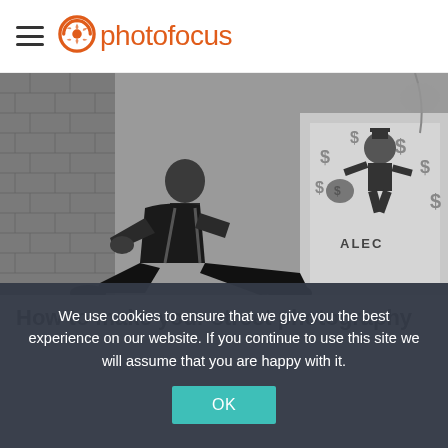photofocus
[Figure (photo): Black and white photo of a young man sitting on the ground leaning against a wall, with a colorful graffiti mural behind him featuring a Monopoly-style character carrying a bag of money and dollar signs. Text 'ALEC' visible on the mural.]
How to make your street photography
We use cookies to ensure that we give you the best experience on our website. If you continue to use this site we will assume that you are happy with it.